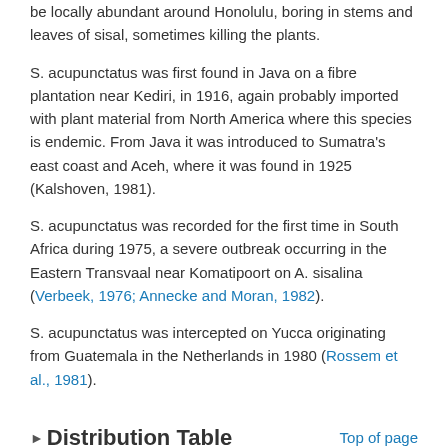be locally abundant around Honolulu, boring in stems and leaves of sisal, sometimes killing the plants.
S. acupunctatus was first found in Java on a fibre plantation near Kediri, in 1916, again probably imported with plant material from North America where this species is endemic. From Java it was introduced to Sumatra's east coast and Aceh, where it was found in 1925 (Kalshoven, 1981).
S. acupunctatus was recorded for the first time in South Africa during 1975, a severe outbreak occurring in the Eastern Transvaal near Komatipoort on A. sisalina (Verbeek, 1976; Annecke and Moran, 1982).
S. acupunctatus was intercepted on Yucca originating from Guatemala in the Netherlands in 1980 (Rossem et al., 1981).
Distribution Table
Hosts/Species Affected
S. acupunctatus is most common on century plants of the genera Agave and Furcraea, although it has also been recorded on Yucca.